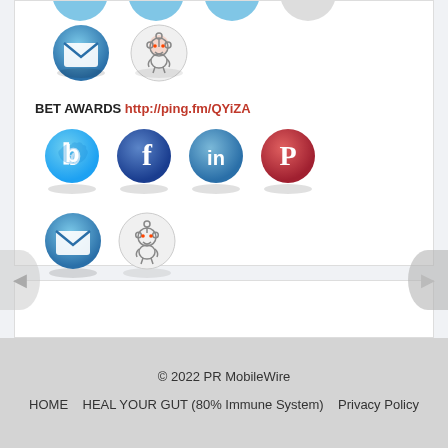[Figure (screenshot): Social sharing icons: email (envelope) and Reddit circles in top area]
BET AWARDS http://ping.fm/QYiZA
[Figure (screenshot): Social sharing icons: Twitter, Facebook, LinkedIn, Pinterest, Email, Reddit]
© 2022 PR MobileWire  HOME  HEAL YOUR GUT (80% Immune System)  Privacy Policy